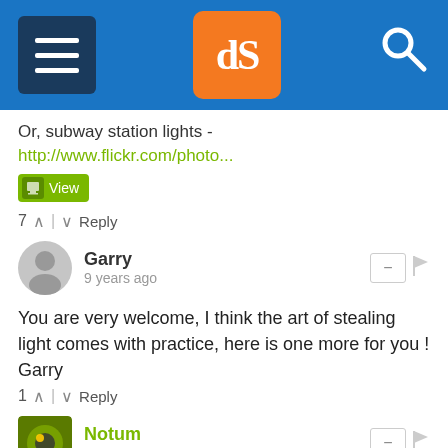[Figure (screenshot): Website header bar with hamburger menu, dPS logo, and search icon on blue background]
Or, subway station lights - http://www.flickr.com/photo...
View
7 ^ | v Reply
Garry
9 years ago
You are very welcome, I think the art of stealing light comes with practice, here is one more for you ! Garry
1 ^ | v Reply
Notum
9 years ago
Great stuff, thx for posting :)
1 ^ | v Reply
Jenny